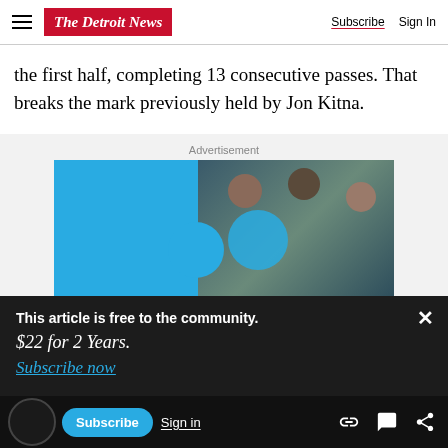The Detroit News — Subscribe | Sign In
the first half, completing 13 consecutive passes. That breaks the mark previously held by Jon Kitna.
Advertisement
[Figure (photo): Advertisement image showing people looking at a screen together, with a blue graphic on the left side.]
This article is free to the community.
$22 for 2 Years.
Subscribe now